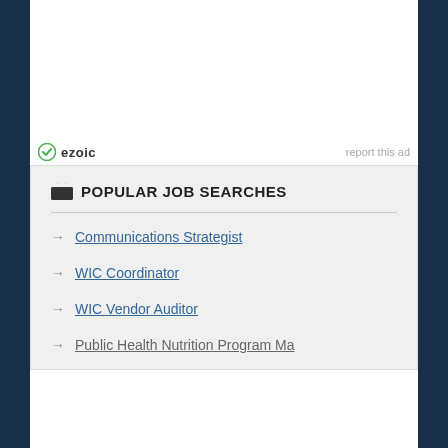[Figure (logo): Ezoic logo with green circular icon and text 'ezoic']
report this ad
POPULAR JOB SEARCHES
Communications Strategist
WIC Coordinator
WIC Vendor Auditor
Public Health Nutrition Program Ma...